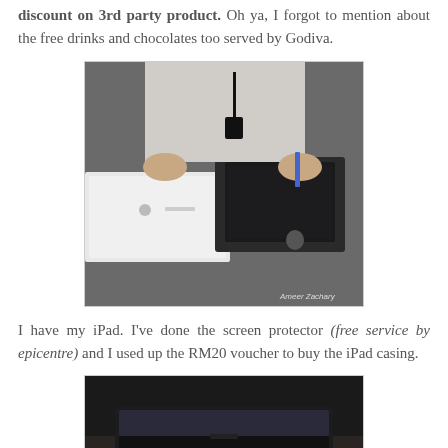discount on 3rd party product. Oh ya, I forgot to mention about the free drinks and chocolates too served by Godiva.
[Figure (photo): Person unboxing an iPad on a dark table; white iPad box open on the left, tablet being removed from black box on the right. Watermark: Ameer Zachary]
I have my iPad. I've done the screen protector (free service by epicentre) and I used up the RM20 voucher to buy the iPad casing.
[Figure (photo): Dark photo of an iPad screen lit up, partially visible at the bottom of the page.]